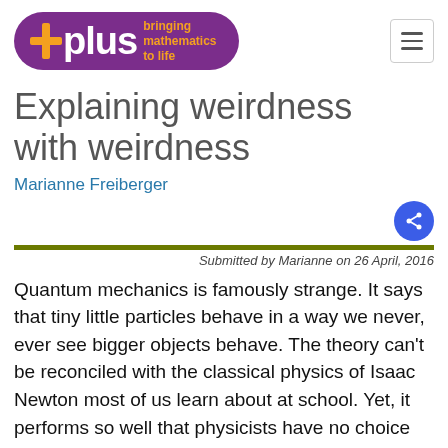[Figure (logo): Plus magazine logo — purple pill shape with white '+plus' text and orange tagline 'bringing mathematics to life']
Explaining weirdness with weirdness
Marianne Freiberger
Submitted by Marianne on 26 April, 2016
Quantum mechanics is famously strange. It says that tiny little particles behave in a way we never, ever see bigger objects behave. The theory can't be reconciled with the classical physics of Isaac Newton most of us learn about at school. Yet, it performs so well that physicists have no choice but to accept it.